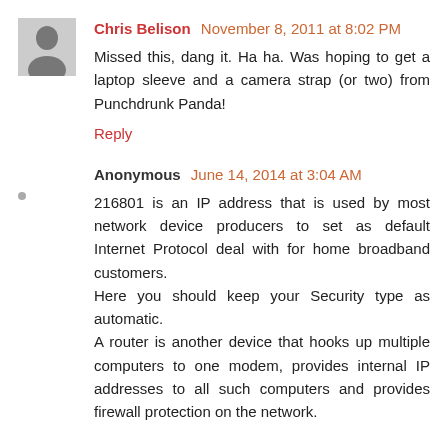Chris Belison  November 8, 2011 at 8:02 PM
Missed this, dang it. Ha ha. Was hoping to get a laptop sleeve and a camera strap (or two) from Punchdrunk Panda!
Reply
Anonymous  June 14, 2014 at 3:04 AM
216801 is an IP address that is used by most network device producers to set as default Internet Protocol deal with for home broadband customers.
Here you should keep your Security type as automatic.
A router is another device that hooks up multiple computers to one modem, provides internal IP addresses to all such computers and provides firewall protection on the network.
Stop by my weblog ... Virtual Router